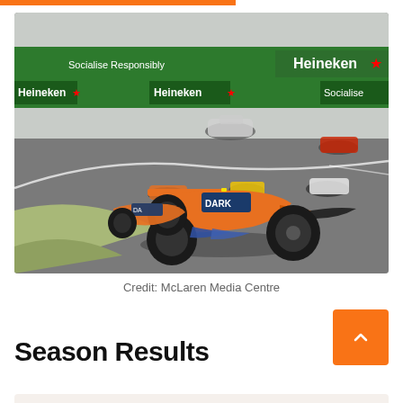[Figure (photo): Formula 1 racing cars on track at what appears to be the Emilia Romagna Grand Prix. Prominent orange McLaren car in foreground with 'DARK' sponsor visible. Heineken and 'Socialise Responsibly' advertising boards in background. Multiple F1 cars visible including white Williams, red Ferrari, and yellow Renault cars.]
Credit: McLaren Media Centre
Season Results